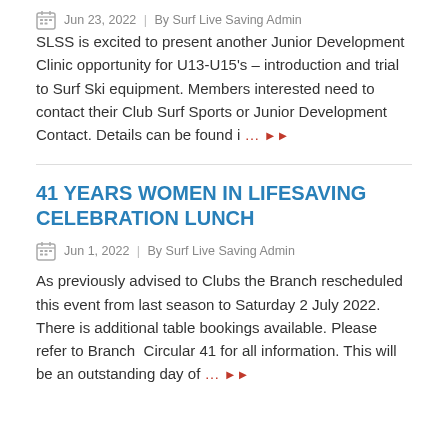Jun 23, 2022  /  By Surf Live Saving Admin
SLSS is excited to present another Junior Development Clinic opportunity for U13-U15's – introduction and trial to Surf Ski equipment. Members interested need to contact their Club Surf Sports or Junior Development Contact. Details can be found i … ▶▶
41 YEARS WOMEN IN LIFESAVING CELEBRATION LUNCH
Jun 1, 2022  /  By Surf Live Saving Admin
As previously advised to Clubs the Branch rescheduled this event from last season to Saturday 2 July 2022. There is additional table bookings available. Please refer to Branch Circular 41 for all information. This will be an outstanding day of … ▶▶